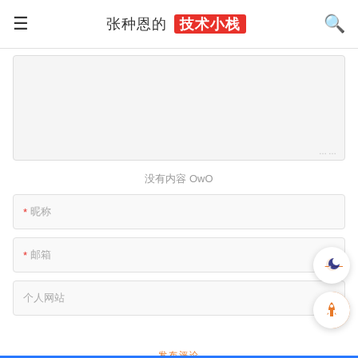张种恩的 技术小栈
[Figure (screenshot): Empty textarea input box with resize handle dots at bottom-right corner]
没有内容 OwO
[Figure (screenshot): Required name input field with asterisk placeholder * 昵称]
[Figure (screenshot): Required email input field with asterisk placeholder * 邮箱]
[Figure (screenshot): Optional website input field placeholder 个人网站]
[Figure (screenshot): Floating buttons: moon/night mode button and rocket/scroll-to-top button with orange accent]
发布评论